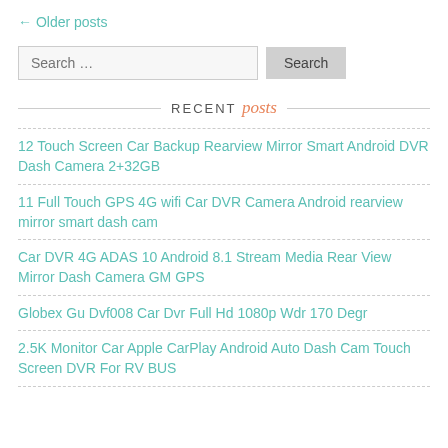← Older posts
Search …
RECENT posts
12 Touch Screen Car Backup Rearview Mirror Smart Android DVR Dash Camera 2+32GB
11 Full Touch GPS 4G wifi Car DVR Camera Android rearview mirror smart dash cam
Car DVR 4G ADAS 10 Android 8.1 Stream Media Rear View Mirror Dash Camera GM GPS
Globex Gu Dvf008 Car Dvr Full Hd 1080p Wdr 170 Degr
2.5K Monitor Car Apple CarPlay Android Auto Dash Cam Touch Screen DVR For RV BUS